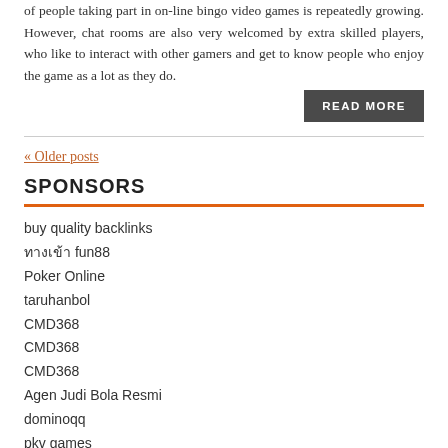of people taking part in on-line bingo video games is repeatedly growing. However, chat rooms are also very welcomed by extra skilled players, who like to interact with other gamers and get to know people who enjoy the game as a lot as they do.
READ MORE
« Older posts
SPONSORS
buy quality backlinks
ทางเข้า fun88
Poker Online
taruhanbol
CMD368
CMD368
CMD368
Agen Judi Bola Resmi
dominoqq
pkv games
RECENT POSTS